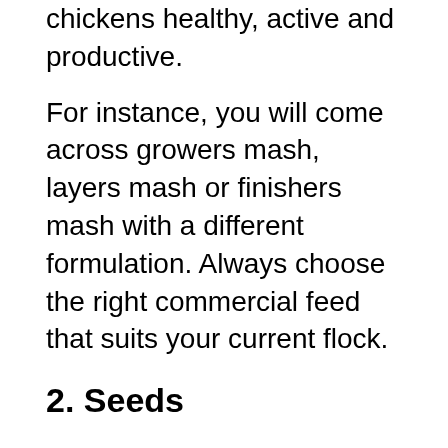has its own role it plays to keep your chickens healthy, active and productive.
For instance, you will come across growers mash, layers mash or finishers mash with a different formulation. Always choose the right commercial feed that suits your current flock.
2. Seeds
Chickens are also fond of different kinds of seeds as part of their diet.  Top examples of these seeds include sunflower seeds, corn, wheatgrass,